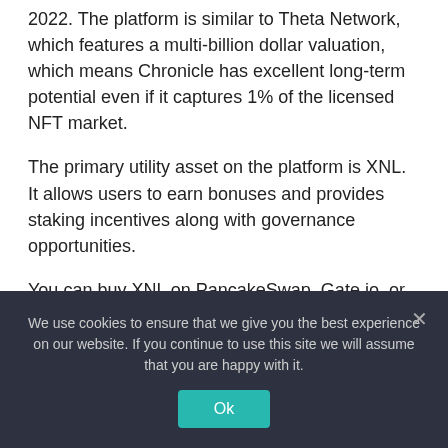2022. The platform is similar to Theta Network, which features a multi-billion dollar valuation, which means Chronicle has excellent long-term potential even if it captures 1% of the licensed NFT market.
The primary utility asset on the platform is XNL. It allows users to earn bonuses and provides staking incentives along with governance opportunities.
You can buy XNL on PancakeSwap, Gate.io, or KuCoin.
#4 Ispolink (ISP) – $3.9 million
Unit Price: $0.002607
We use cookies to ensure that we give you the best experience on our website. If you continue to use this site we will assume that you are happy with it.